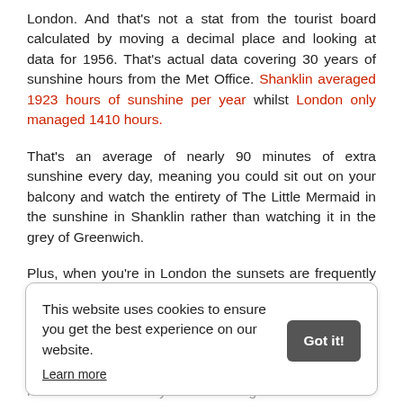London. And that's not a stat from the tourist board calculated by moving a decimal place and looking at data for 1956. That's actual data covering 30 years of sunshine hours from the Met Office. Shanklin averaged 1923 hours of sunshine per year whilst London only managed 1410 hours.
That's an average of nearly 90 minutes of extra sunshine every day, meaning you could sit out on your balcony and watch the entirety of The Little Mermaid in the sunshine in Shanklin rather than watching it in the grey of Greenwich.
Plus, when you're in London the sunsets are frequently obscured by vast glass buildings which once housed office workers and now gather dust because everyone is working from home.
And of course, most people in London spend a certain number of hours a day on the underground.
This website uses cookies to ensure you get the best experience on our website.
Learn more